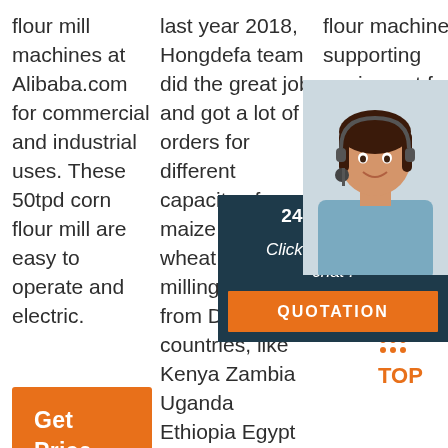flour mill machines at Alibaba.com for commercial and industrial uses. These 50tpd corn flour mill are easy to operate and electric.
[Figure (other): Orange 'Get Price' button]
last year 2018, Hongdefa team did the great job and got a lot of orders for different capacity of maize mill and wheat flour milling machine from Different countries, like Kenya Zambia Uganda Ethiopia Egypt Tanzania and so on
flour machine supporting equipment for all years including milling equipment, milling equipment, milling de... degerming equipment, dust removal equipment, lifting and
[Figure (other): 24/7 Online chat widget with agent photo, 'Click here for free chat!' text, and orange QUOTATION button]